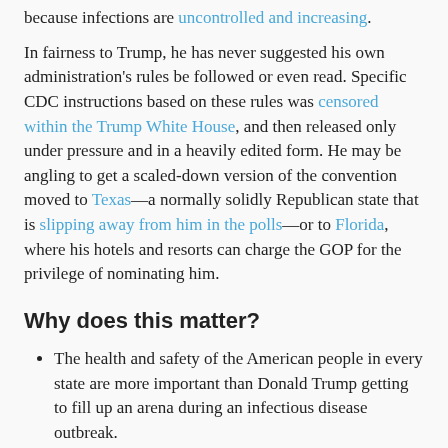because infections are uncontrolled and increasing.
In fairness to Trump, he has never suggested his own administration's rules be followed or even read. Specific CDC instructions based on these rules was censored within the Trump White House, and then released only under pressure and in a heavily edited form. He may be angling to get a scaled-down version of the convention moved to Texas—a normally solidly Republican state that is slipping away from him in the polls—or to Florida, where his hotels and resorts can charge the GOP for the privilege of nominating him.
Why does this matter?
The health and safety of the American people in every state are more important than Donald Trump getting to fill up an arena during an infectious disease outbreak.
One way for Trump to have had a better chance at a big crowded indoor convention would have been to take responsibility for reducing the